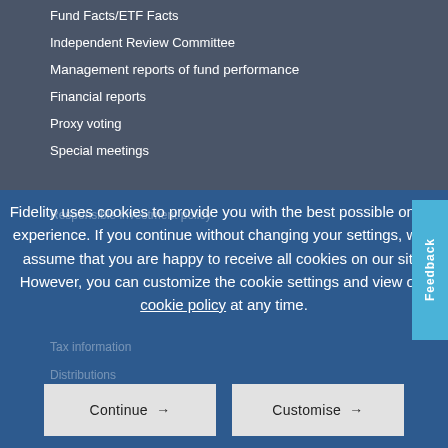Fund Facts/ETF Facts
Independent Review Committee
Management reports of fund performance
Financial reports
Proxy voting
Special meetings
Responsible investment policy
Fidelity uses cookies to provide you with the best possible online experience. If you continue without changing your settings, we'll assume that you are happy to receive all cookies on our site. However, you can customize the cookie settings and view our cookie policy at any time.
Tax information
Distributions
Continue →
Customise →